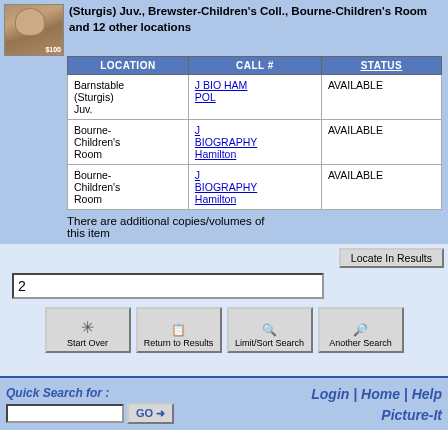(Sturgis) Juv., Brewster-Children's Coll., Bourne-Children's Room and 12 other locations
| LOCATION | CALL # | STATUS |
| --- | --- | --- |
| Barnstable (Sturgis) Juv. | J BIO HAM POL | AVAILABLE |
| Bourne-Children's Room | J BIOGRAPHY Hamilton | AVAILABLE |
| Bourne-Children's Room | J BIOGRAPHY Hamilton | AVAILABLE |
There are additional copies/volumes of this item
Locate In Results
2
Start Over
Return to Results
Limit/Sort Search
Another Search
Quick Search for :
Login | Home | Help Picture-It